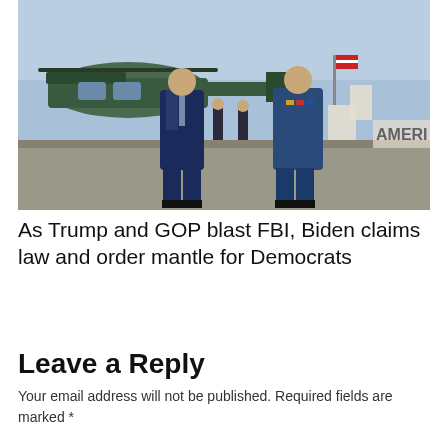[Figure (photo): Two men in formal attire walking on a tarmac near a military helicopter. The man on the left wears a dark navy suit with a striped tie. The man on the right wears a blue military uniform with medals and insignia. In the background, there is a large military helicopter, personnel in uniform, and letters 'AMERI' visible on a surface.]
As Trump and GOP blast FBI, Biden claims law and order mantle for Democrats
Leave a Reply
Your email address will not be published. Required fields are marked *